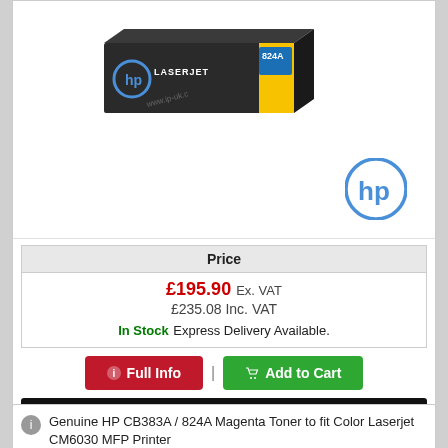[Figure (photo): HP LaserJet 824A yellow toner cartridge box with HP logo watermark in background]
| Price |
| --- |
| £195.90 Ex. VAT |
| £235.08 Inc. VAT |
| In Stock Express Delivery Available. |
Full Info | Add to Cart
195 loyalty points
Genuine HP CB383A / 824A Magenta Toner to fit Color Laserjet CM6030 MFP Printer